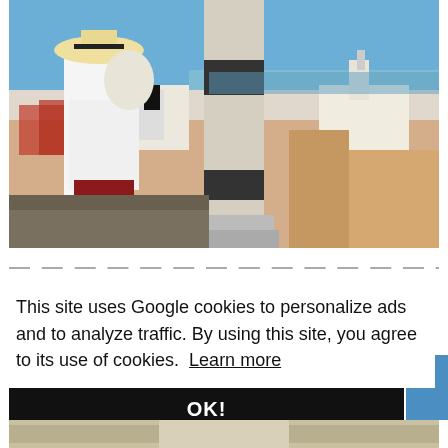[Figure (photo): A tourist photographing the Alfama district and rooftops of Lisbon, Portugal, with a marble column in the foreground and a church and river in the background under blue sky.]
n
This site uses Google cookies to personalize ads and to analyze traffic. By using this site, you agree to its use of cookies. Learn more
OK!
[Figure (photo): Partial view of a second photo at the bottom of the page showing a city scene.]